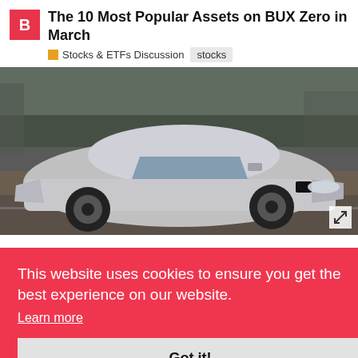The 10 Most Popular Assets on BUX Zero in March
Stocks & ETFs Discussion   stocks
[Figure (photo): A silver Tesla Model S electric car driving on a road, photographed from a low front-angle perspective with trees in the background.]
This website uses cookies to ensure you get the best experience on our website. Learn more Got it!
l and g for ce of oil
BUX Zero users have seen this as a buying